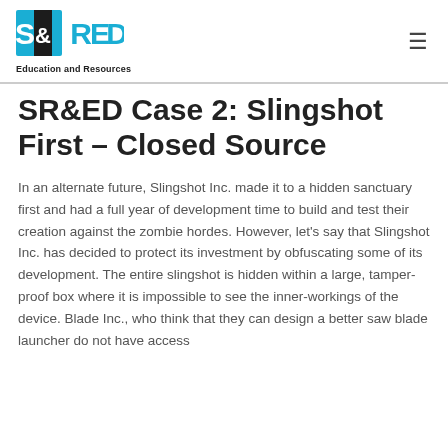SR&ED Education and Resources
SR&ED Case 2: Slingshot First – Closed Source
In an alternate future, Slingshot Inc. made it to a hidden sanctuary first and had a full year of development time to build and test their creation against the zombie hordes. However, let's say that Slingshot Inc. has decided to protect its investment by obfuscating some of its development. The entire slingshot is hidden within a large, tamper-proof box where it is impossible to see the inner-workings of the device. Blade Inc., who think that they can design a better saw blade launcher do not have access